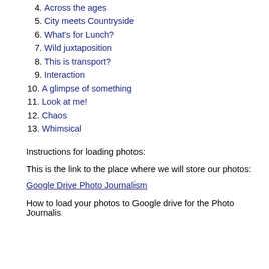4. Across the ages
5. City meets Countryside
6. What's for Lunch?
7. Wild juxtaposition
8. This is transport?
9. Interaction
10. A glimpse of something
11. Look at me!
12. Chaos
13. Whimsical
Instructions for loading photos:
This is the link to the place where we will store our photos:
Google Drive Photo Journalism
How to load your photos to Google drive for the Photo Journalis